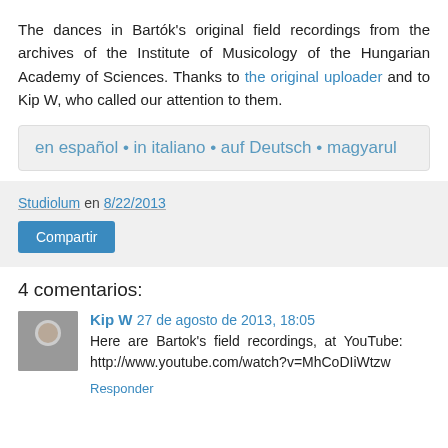The dances in Bartók's original field recordings from the archives of the Institute of Musicology of the Hungarian Academy of Sciences. Thanks to the original uploader and to Kip W, who called our attention to them.
en español • in italiano • auf Deutsch • magyarul
Studiolum en 8/22/2013
Compartir
4 comentarios:
Kip W 27 de agosto de 2013, 18:05
Here are Bartok's field recordings, at YouTube: http://www.youtube.com/watch?v=MhCoDIiWtzw
Responder